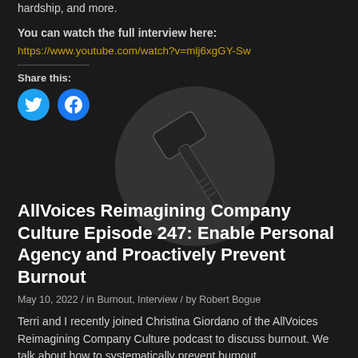hardship, and more.
You can watch the full interview here:
https://www.youtube.com/watch?v=mlj6xgGY-Sw
Share this:
[Figure (illustration): A dark circle containing an illustration of a sledgehammer/mallet]
AllVoices Reimagining Company Culture Episode 247: Enable Personal Agency and Proactively Prevent Burnout
May 10, 2022 / in Burnout, Interview / by Robert Bogue
Terri and I recently joined Christina Giordano of the AllVoices Reimagining Company Culture podcast to discuss burnout. We talk about how to systematically prevent burnout